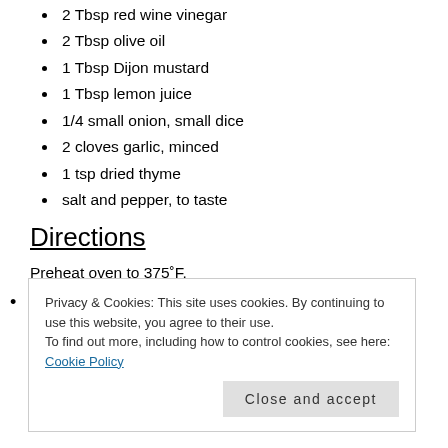2 Tbsp red wine vinegar
2 Tbsp olive oil
1 Tbsp Dijon mustard
1 Tbsp lemon juice
1/4 small onion, small dice
2 cloves garlic, minced
1 tsp dried thyme
salt and pepper, to taste
Directions
Preheat oven to 375°F.
First, make the dressing. Combine red wine vinegar, olive oil, mustard, lemon juice, onion, garlic and thyme in a small bowl. Whisk well to combine. Set aside.
Privacy & Cookies: This site uses cookies. By continuing to use this website, you agree to their use.
To find out more, including how to control cookies, see here: Cookie Policy
While the potatoes are roasting, steam the beans in a large